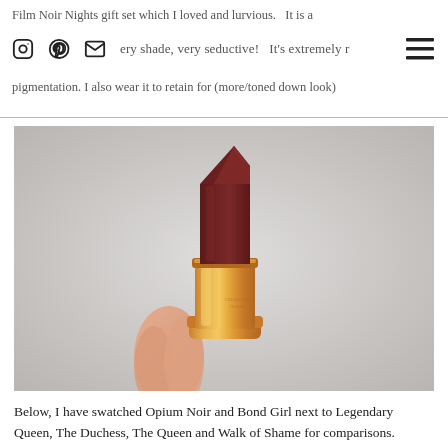Film Noir Nights gift set which I loved and lurvious. It is a n... shade, very seductive! It's extremely r... pigmentation. I also wear it to retain for (more/toned down look)
[Figure (photo): Close-up photo of a dark burgundy/deep red matte lipstick in a rose gold tube, held by a hand against a light grey blurred background.]
Below, I have swatched Opium Noir and Bond Girl next to Legendary Queen, The Duchess, The Queen and Walk of Shame for comparisons.